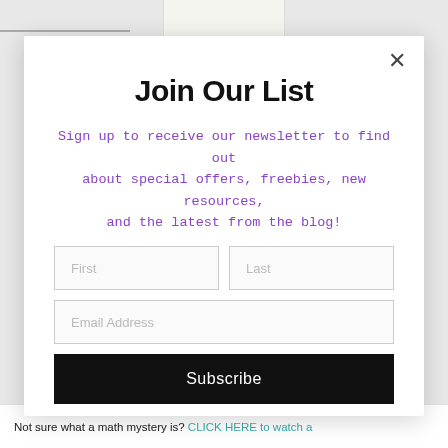Join Our List
Sign up to receive our newsletter to find out about special offers, freebies, new resources, and the latest from the blog!
Not sure what a math mystery is? CLICK HERE to watch a video about Math Mysteries or read this blog post: What
[Figure (screenshot): Newsletter signup modal popup with title 'Join Our List', purple subtitle text, form fields for First, Last, Email Address, and a Subscribe button]